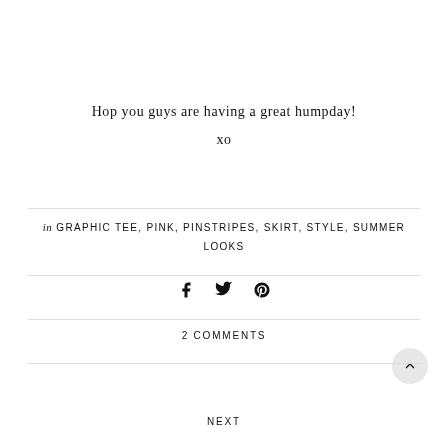Hop you guys are having a great humpday!
xo
in GRAPHIC TEE, PINK, PINSTRIPES, SKIRT, STYLE, SUMMER LOOKS
2 COMMENTS
NEXT